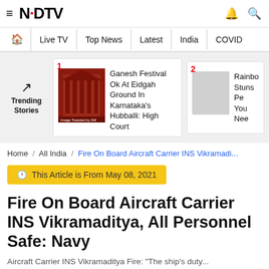≡ NDTV 🔔 🔍
Home | Live TV | Top News | Latest | India | COVID
[Figure (screenshot): Trending Stories section with two story cards. Card 1: Ganesh Festival Ok At Eidgah Ground In Karnataka's Hubballi: High Court (with red building image). Card 2: Rainbow Stuns Pe... You Nee...]
Home / All India / Fire On Board Aircraft Carrier INS Vikramadi...
This Article is From May 08, 2021
Fire On Board Aircraft Carrier INS Vikramaditya, All Personnel Safe: Navy
Aircraft Carrier INS Vikramaditya Fire: "The ship's duty...